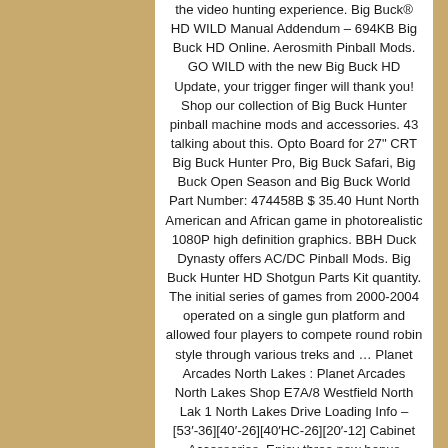the video hunting experience. Big Buck® HD WILD Manual Addendum – 694KB Big Buck HD Online. Aerosmith Pinball Mods. GO WILD with the new Big Buck HD Update, your trigger finger will thank you! Shop our collection of Big Buck Hunter pinball machine mods and accessories. 43 talking about this. Opto Board for 27" CRT Big Buck Hunter Pro, Big Buck Safari, Big Buck Open Season and Big Buck World Part Number: 474458B $ 35.40 Hunt North American and African game in photorealistic 1080P high definition graphics. BBH Duck Dynasty offers AC/DC Pinball Mods. Big Buck Hunter HD Shotgun Parts Kit quantity. The initial series of games from 2000-2004 operated on a single gun platform and allowed four players to compete round robin style through various treks and … Planet Arcades North Lakes : Planet Arcades North Lakes Shop E7A/8 Westfield North Lak 1 North Lakes Drive Loading Info – [53′-36][40′-26][40′HC-26][20′-12] Cabinet Accessories. Enjoy three new bonus games; Wild West, Cockroaches, and Volcano! Big Buck Hunter Outdoor Adventures is now available on